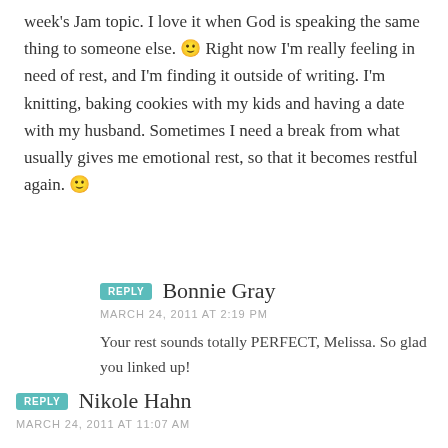week's Jam topic. I love it when God is speaking the same thing to someone else. 🙂 Right now I'm really feeling in need of rest, and I'm finding it outside of writing. I'm knitting, baking cookies with my kids and having a date with my husband. Sometimes I need a break from what usually gives me emotional rest, so that it becomes restful again. 🙂
REPLY Bonnie Gray
MARCH 24, 2011 AT 2:19 PM
Your rest sounds totally PERFECT, Melissa. So glad you linked up!
REPLY Nikole Hahn
MARCH 24, 2011 AT 11:07 AM